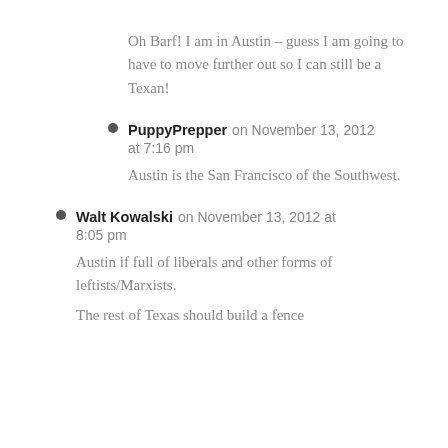Oh Barf! I am in Austin – guess I am going to have to move further out so I can still be a Texan!
PuppyPrepper on November 13, 2012 at 7:16 pm — Austin is the San Francisco of the Southwest.
Walt Kowalski on November 13, 2012 at 8:05 pm — Austin if full of liberals and other forms of leftists/Marxists. The rest of Texas should build a fence